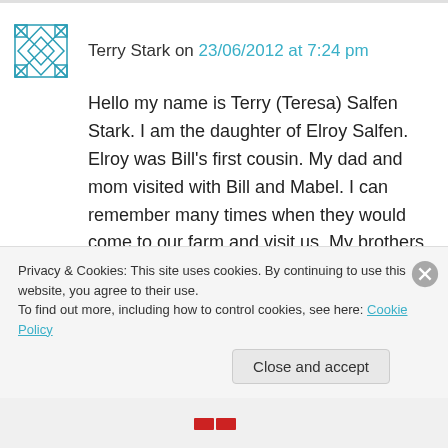Terry Stark on 23/06/2012 at 7:24 pm
Hello my name is Terry (Teresa) Salfen Stark. I am the daughter of Elroy Salfen. Elroy was Bill's first cousin. My dad and mom visited with Bill and Mabel. I can remember many times when they would come to our farm and visit us. My brothers and sisters always thought he was a wealth of info for our families history. I also know some of his war history. I can say I never saw
Privacy & Cookies: This site uses cookies. By continuing to use this website, you agree to their use.
To find out more, including how to control cookies, see here: Cookie Policy